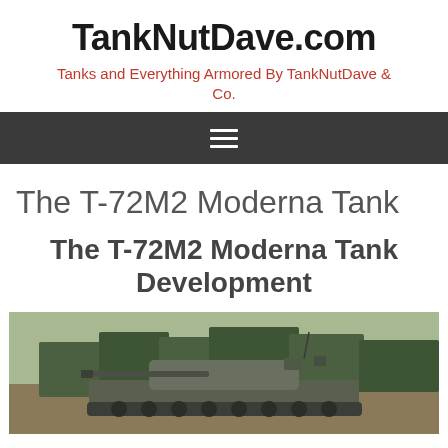TankNutDave.com
Tanks and Everything Armored By TankNutDave & Co.
The T-72M2 Moderna Tank
The T-72M2 Moderna Tank Development
[Figure (photo): Photograph of a T-72M2 Moderna tank in a field setting with trees in the background]